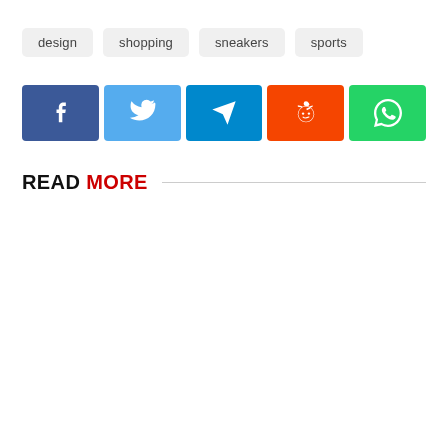design
shopping
sneakers
sports
[Figure (infographic): Social share buttons row: Facebook (blue), Twitter (light blue), Telegram (teal/dark blue), Reddit (orange-red), WhatsApp (green)]
READ MORE